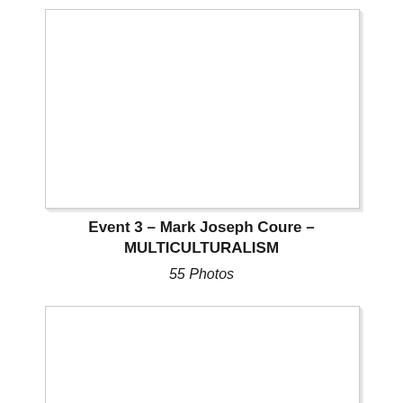[Figure (photo): Empty white photo placeholder with light gray border and shadow, top image]
Event 3 – Mark Joseph Coure – MULTICULTURALISM
55 Photos
[Figure (photo): Empty white photo placeholder with light gray border and shadow, bottom image]